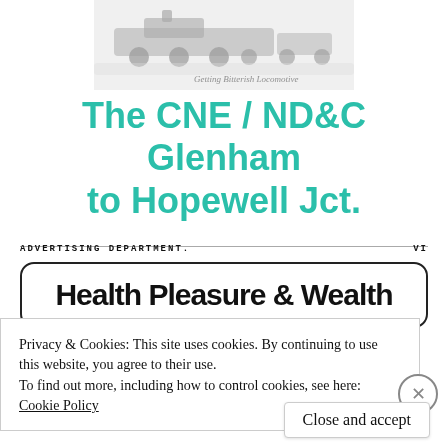[Figure (photo): Vintage black-and-white illustration of a steam locomotive with cursive signature below]
The CNE / ND&C Glenham to Hopewell Jct.
[Figure (screenshot): Scanned advertisement header reading ADVERTISING DEPARTMENT. with roman numeral VI, and large bold text: Health Pleasure & Wealth inside a rounded rectangle border]
Privacy & Cookies: This site uses cookies. By continuing to use this website, you agree to their use.
To find out more, including how to control cookies, see here:
Cookie Policy
Close and accept